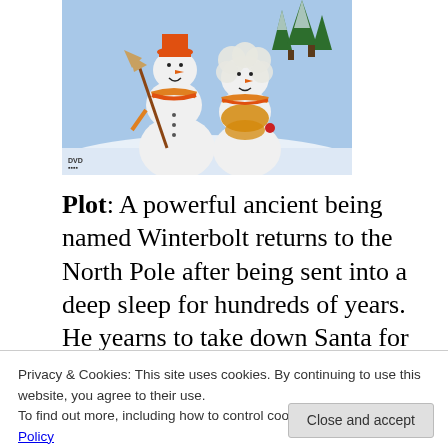[Figure (photo): DVD cover image showing two cartoon snowman figures — a male snowman wearing an orange hat and striped scarf holding a broom, and a female snowman with fluffy white hair wearing an orange outfit. Snowy winter scene with trees in the background. DVD logo in the bottom-left corner.]
Plot: A powerful ancient being named Winterbolt returns to the North Pole after being sent into a deep sleep for hundreds of years. He yearns to take down Santa for taking over the North Pole in his absence...
Privacy & Cookies: This site uses cookies. By continuing to use this website, you agree to their use.
To find out more, including how to control cookies, see here: Cookie Policy
that time of year again: It's time for A very